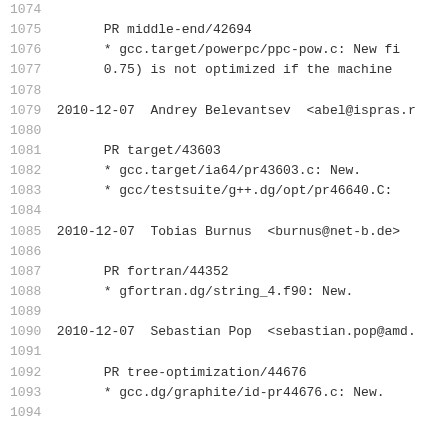Code listing lines 1074-1094 with changelog entries for gcc commits dated 2010-12-07. Authors: Andrey Belevantsev <abel@ispras.r...>, Tobias Burnus <burnus@net-b.de>, Sebastian Pop <sebastian.pop@amd....>. PRs: middle-end/42694, target/43603, fortran/44352, tree-optimization/44676.